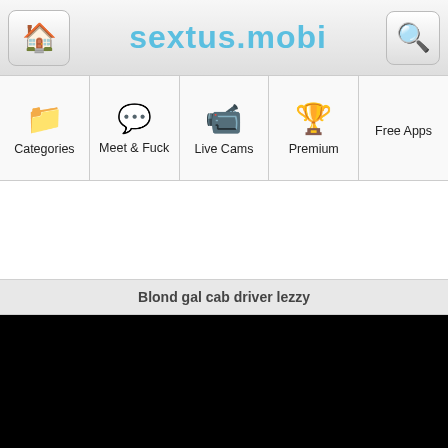SEXTUS.MOBI
Categories
Meet & Fuck
Live Cams
Premium
Free Apps
Blond gal cab driver lezzy
[Figure (other): Black video player area]